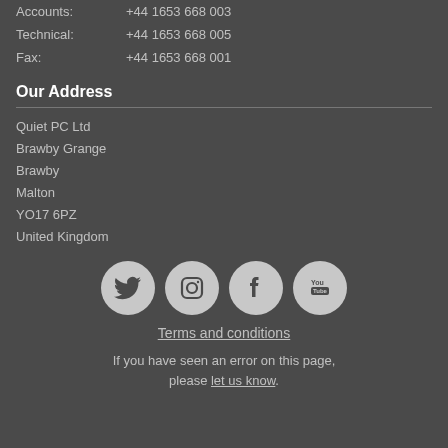Accounts: +44 1653 668 003
Technical: +44 1653 668 005
Fax: +44 1653 668 001
Our Address
Quiet PC Ltd
Brawby Grange
Brawby
Malton
YO17 6PZ
United Kingdom
[Figure (infographic): Four social media icon circles: Twitter, Instagram, Facebook, YouTube]
Terms and conditions
If you have seen an error on this page, please let us know.